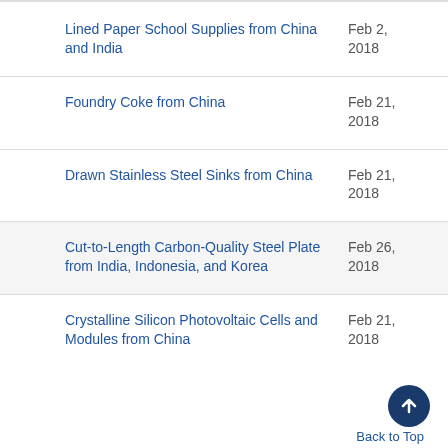Lined Paper School Supplies from China and India
Foundry Coke from China
Drawn Stainless Steel Sinks from China
Cut-to-Length Carbon-Quality Steel Plate from India, Indonesia, and Korea
Crystalline Silicon Photovoltaic Cells and Modules from China
Back to Top